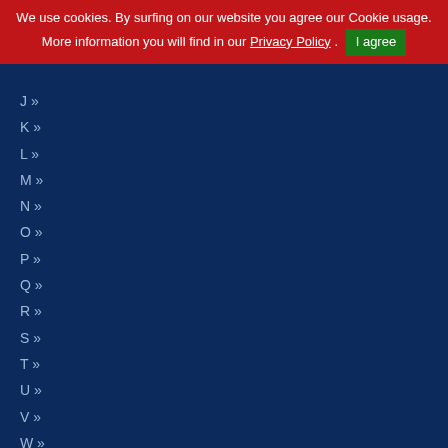We use cookies. By surfing on our website you agree our Cookie usage. More information you will find in our Privacy Policy . I agree
J »
K »
L »
M »
N »
O »
P »
Q »
R »
S »
T »
U »
V »
W »
X »
Y »
Z »
Compilations »
Newcomer »
Merchandise »
Radio Drama / Audio Book »
Packages
Accessories